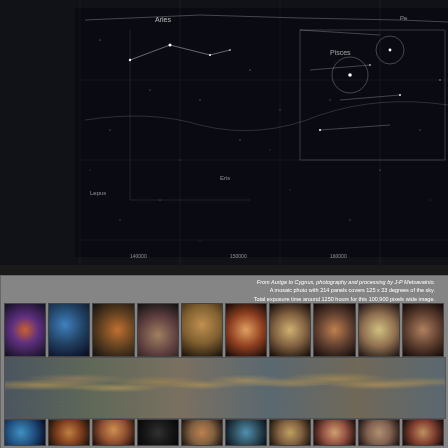[Figure (other): Star map / sky chart showing constellations including Aries, Pisces, and surrounding regions with constellation lines, star positions, and coordinate grid on black background]
[Figure (infographic): Astronomy mosaic panel titled 'From Auriga to Cygnus, photography and processing by J-P Metsavainio'. Shows a panoramic wide-field astrophotography mosaic of the Milky Way with nebulae, flanked by rows of close-up thumbnail images of individual nebulae and star-forming regions. A panoramic band shows the full mosaic, with thumbnail rows above and below showing detail crops.]
From Auriga to Cygnus, photography and processing by J-P Metsavainio. A mosaic photo with 214 panels covers 125 x 23 degrees of the sky. Total exposure time around 1250 hours for this 100,900 pixels wide image.